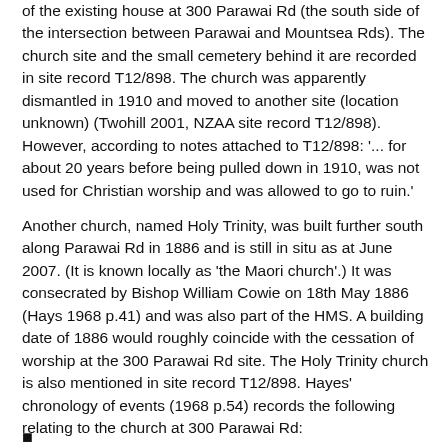of the existing house at 300 Parawai Rd (the south side of the intersection between Parawai and Mountsea Rds). The church site and the small cemetery behind it are recorded in site record T12/898. The church was apparently dismantled in 1910 and moved to another site (location unknown) (Twohill 2001, NZAA site record T12/898). However, according to notes attached to T12/898: '... for about 20 years before being pulled down in 1910, was not used for Christian worship and was allowed to go to ruin.'
Another church, named Holy Trinity, was built further south along Parawai Rd in 1886 and is still in situ as at June 2007. (It is known locally as 'the Maori church'.) It was consecrated by Bishop William Cowie on 18th May 1886 (Hays 1968 p.41) and was also part of the HMS. A building date of 1886 would roughly coincide with the cessation of worship at the 300 Parawai Rd site. The Holy Trinity church is also mentioned in site record T12/898. Hayes' chronology of events (1968 p.54) records the following relating to the church at 300 Parawai Rd:
■